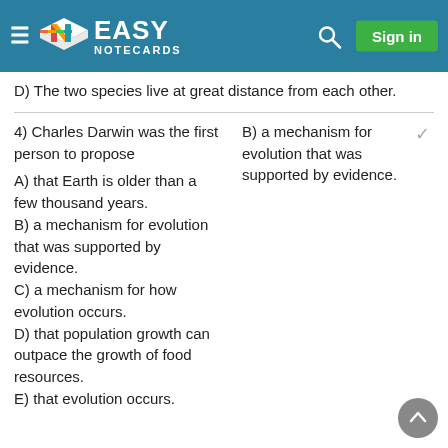Easy Notecards - Sign in
D) The two species live at great distance from each other.
4) Charles Darwin was the first person to propose
A) that Earth is older than a few thousand years.
B) a mechanism for evolution that was supported by evidence.
C) a mechanism for how evolution occurs.
D) that population growth can outpace the growth of food resources.
E) that evolution occurs.
B) a mechanism for evolution that was supported by evidence. ✓